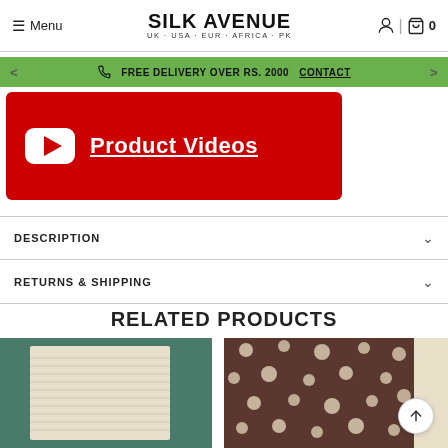Menu | SILK AVENUE UK · USA · EUR · AFRICA · PK | 0
FREE DELIVERY OVER RS. 2000 CONTACT
[Figure (screenshot): Red YouTube-style banner with play button icon and text 'Product Videos' underlined in white]
DESCRIPTION
RETURNS & SHIPPING
RELATED PRODUCTS
[Figure (photo): Cream/beige textured knitted fabric laid on a teal/dark green background]
[Figure (photo): Dark brown fabric with white polka dot pattern on light background]